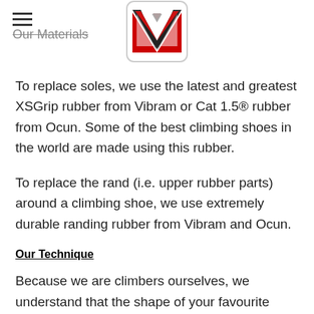Our Materials
[Figure (logo): V-shaped logo with red and grey triangles inside a rounded rectangle border]
To replace soles, we use the latest and greatest XSGrip rubber from Vibram or Cat 1.5® rubber from Ocun. Some of the best climbing shoes in the world are made using this rubber.
To replace the rand (i.e. upper rubber parts) around a climbing shoe, we use extremely durable randing rubber from Vibram and Ocun.
Our Technique
Because we are climbers ourselves, we understand that the shape of your favourite climbing shoes is extremely important to you. Using specialised equipment and the correct thickness of rubber, we spare no effort to maintain the shape and curvature of the shoes during the resoling process. Some of the best climbing shoes are made this way.